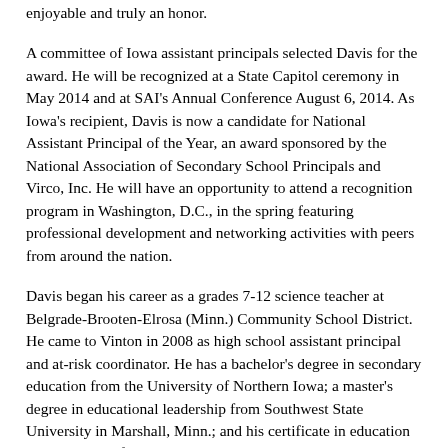enjoyable and truly an honor.
A committee of Iowa assistant principals selected Davis for the award. He will be recognized at a State Capitol ceremony in May 2014 and at SAI's Annual Conference August 6, 2014. As Iowa's recipient, Davis is now a candidate for National Assistant Principal of the Year, an award sponsored by the National Association of Secondary School Principals and Virco, Inc. He will have an opportunity to attend a recognition program in Washington, D.C., in the spring featuring professional development and networking activities with peers from around the nation.
Davis began his career as a grades 7-12 science teacher at Belgrade-Brooten-Elrosa (Minn.) Community School District. He came to Vinton in 2008 as high school assistant principal and at-risk coordinator. He has a bachelor's degree in secondary education from the University of Northern Iowa; a master's degree in educational leadership from Southwest State University in Marshall, Minn.; and his certificate in education administration from Saint Mary's University in Winona, Minn.